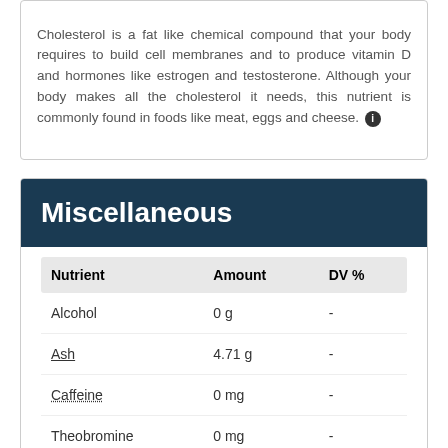Cholesterol is a fat like chemical compound that your body requires to build cell membranes and to produce vitamin D and hormones like estrogen and testosterone. Although your body makes all the cholesterol it needs, this nutrient is commonly found in foods like meat, eggs and cheese.
Miscellaneous
| Nutrient | Amount | DV % |
| --- | --- | --- |
| Alcohol | 0 g | - |
| Ash | 4.71 g | - |
| Caffeine | 0 mg | - |
| Theobromine | 0 mg | - |
| Water | 40.95 g | - |